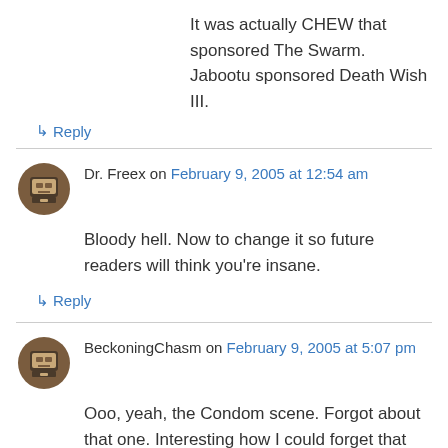It was actually CHEW that sponsored The Swarm. Jabootu sponsored Death Wish III.
↳ Reply
Dr. Freex on February 9, 2005 at 12:54 am
Bloody hell. Now to change it so future readers will think you're insane.
↳ Reply
BeckoningChasm on February 9, 2005 at 5:07 pm
Ooo, yeah, the Condom scene. Forgot about that one. Interesting how I could forget that ridiculous scene, but the noise those creatures make is just the worst.